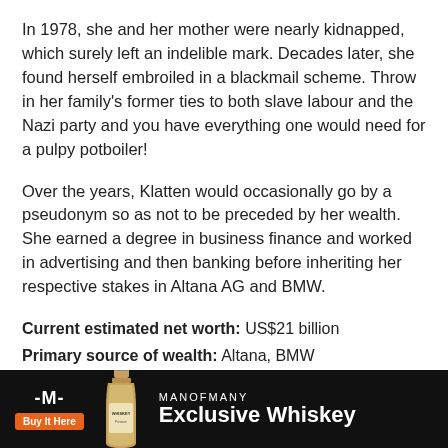In 1978, she and her mother were nearly kidnapped, which surely left an indelible mark. Decades later, she found herself embroiled in a blackmail scheme. Throw in her family's former ties to both slave labour and the Nazi party and you have everything one would need for a pulpy potboiler!
Over the years, Klatten would occasionally go by a pseudonym so as not to be preceded by her wealth. She earned a degree in business finance and worked in advertising and then banking before inheriting her respective stakes in Altana AG and BMW.
Current estimated net worth: US$21 billion
Primary source of wealth: Altana, BMW
Age: 5…
[Figure (other): Advertisement banner for Man of Many Exclusive Whiskey with logo, Buy It Here button, whiskey bottle illustration, and text 'MANOFMANY Exclusive Whiskey' on black background]